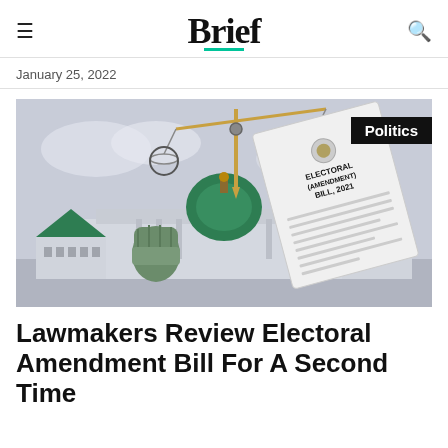Brief
January 25, 2022
[Figure (illustration): Illustration showing Nigerian National Assembly building with a raised fist, a scale/balance, and the Electoral (Amendment) Bill 2021 document. A 'Politics' badge in the top right corner.]
Lawmakers Review Electoral Amendment Bill For A Second Time